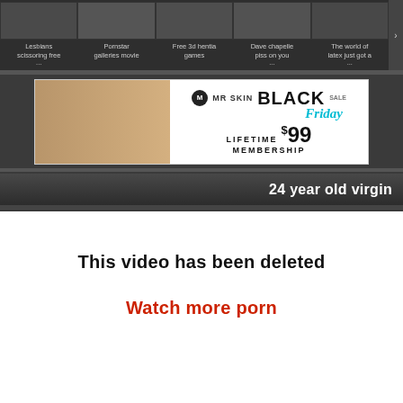[Figure (screenshot): Thumbnail strip of video links with labels: Lesbians scissoring free, Pornstar galleries movie, Free 3d hentia games, Dave chapelle piss on you, The world of latex just got a]
Lesbians scissoring free   Pornstar galleries movie   Free 3d hentia games   Dave chapelle piss on you   The world of latex just got a
[Figure (photo): MR SKIN BLACK Friday SALE advertisement banner. LIFETIME $99 MEMBERSHIP. Shows a laughing woman.]
24 year old virgin
This video has been deleted
Watch more porn